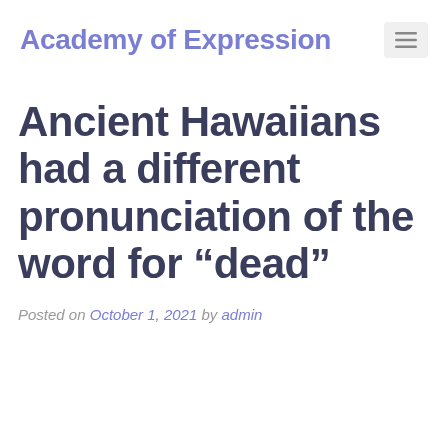Academy of Expression
Ancient Hawaiians had a different pronunciation of the word for “dead”
Posted on October 1, 2021 by admin